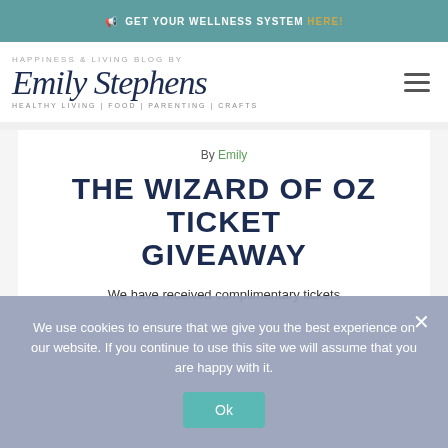📢 GET YOUR WELLNESS SYSTEM HERE!
[Figure (logo): Emily Stephens blog logo with script font and tagline: Healthy Living | Food | Parenting | Crafts]
By Emily
THE WIZARD OF OZ TICKET GIVEAWAY
We use cookies to ensure that we give you the best experience on our website. If you continue to use this site we will assume that you are happy with it.
Ok
We have received complimentary tickets